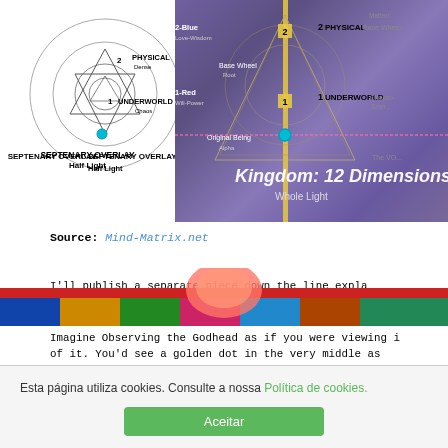[Figure (illustration): Left: black and white diagram showing septenary overlay with circles labeled '2 PHYSICAL Dense' and '1 UNDERWORLD Chaos', text 'SEPTENARY OVERLAY Half Light'. Right: colorful purple/gold spiritual cosmology diagram with text 'Kingdom: 12 Dimensions', 'Whole Light', labels like '2-Blue Love-Wisdom', '1-Red Will-Power', 'Base Wheel Root', 'Original Being Alpha', 'PHYSICAL', 'UNDERWORLD', 'Matter/...', 'Chaos>Ener...', 'The VO...']
Source: Mind-Matrix.net
I'll publish a separate piece down the line explaining the experience at each dimension as it ascends.
Imagine Observing the Godhead as if you were viewing it from outside of it. You'd see a golden dot in the very middle as you look backward as the central filament of golden light. Surrounding it a spherical vortex filled with different and beautiful energies with different oscillations, speeds, and colors.
[Figure (illustration): Partial view of a colorful spiritual/cosmology diagram at bottom of page, partially obscured by cookie banner]
Esta página utiliza cookies. Consulte a nossa Política de cookies.
Aceitar